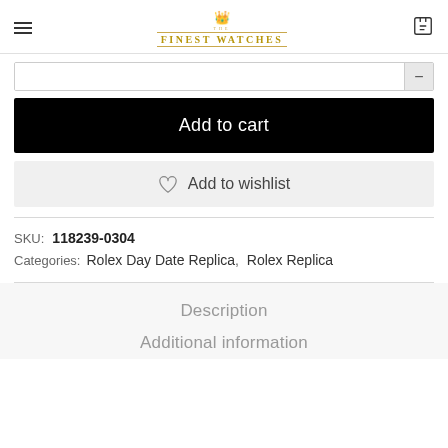THE FINEST WATCHES
Add to cart
Add to wishlist
SKU: 118239-0304
Categories: Rolex Day Date Replica, Rolex Replica
Description
Additional information